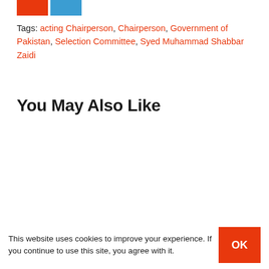[Figure (other): Social share icons: orange Facebook button and blue Twitter button]
Tags: acting Chairperson, Chairperson, Government of Pakistan, Selection Committee, Syed Muhammad Shabbar Zaidi
You May Also Like
This website uses cookies to improve your experience. If you continue to use this site, you agree with it.